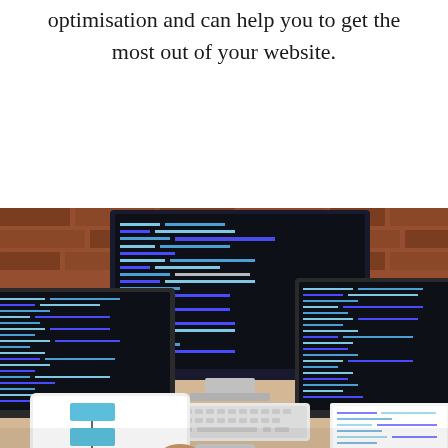optimisation and can help you to get the most out of your website.
[Figure (photo): Overhead view of a developer's desk with a large desktop monitor showing code, two open laptops with code on their screens, a wireless keyboard, a tablet with a flowchart, and a person's hand holding a stylus, with a coffee cup nearby, set against a brick wall background.]